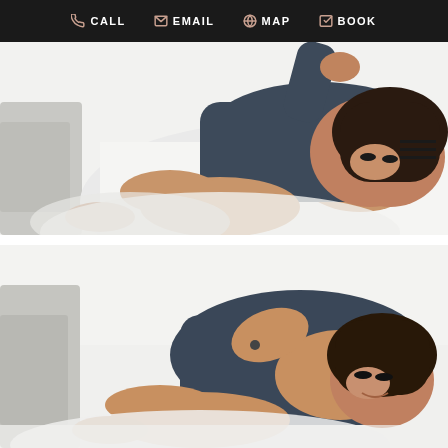CALL  EMAIL  MAP  BOOK
[Figure (photo): Woman in dark blue long-sleeve top lying on white bedding, photographed from above, with dark hair and dramatic eye makeup, legs slightly bent]
[Figure (photo): Same woman in dark blue long-sleeve top lying on white bedding, similar pose but slightly different angle, looking toward camera with a smile, tattoo visible on arm]